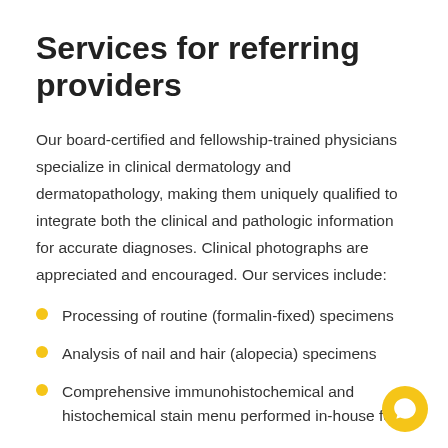Services for referring providers
Our board-certified and fellowship-trained physicians specialize in clinical dermatology and dermatopathology, making them uniquely qualified to integrate both the clinical and pathologic information for accurate diagnoses. Clinical photographs are appreciated and encouraged. Our services include:
Processing of routine (formalin-fixed) specimens
Analysis of nail and hair (alopecia) specimens
Comprehensive immunohistochemical and histochemical stain menu performed in-house for